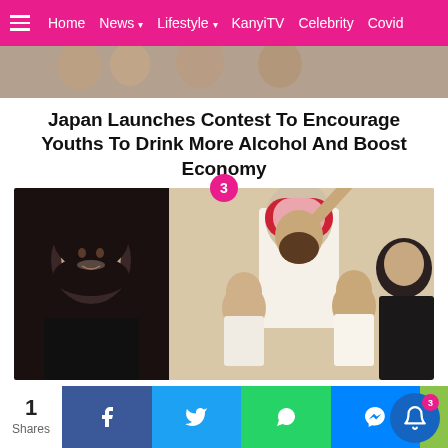Home | News | Lifestyle | KanyiTV | Celebrity | Covid
[Figure (photo): Top cropped photo showing people at a social gathering]
Japan Launches Contest To Encourage Youths To Drink More Alcohol And Boost Economy
[Figure (photo): Left: woman in hijab smiling. Right: family photo with man in traditional Saudi dress with two children and woman in hijab. Badge showing number 3.]
Saudi Arabia Sentences UK University Student To 34 Years In Prison For Using Twitter
[Figure (infographic): Share bar with share count 1 Shares, Facebook, Twitter, WhatsApp, Messenger buttons, and notification bell with badge 3]